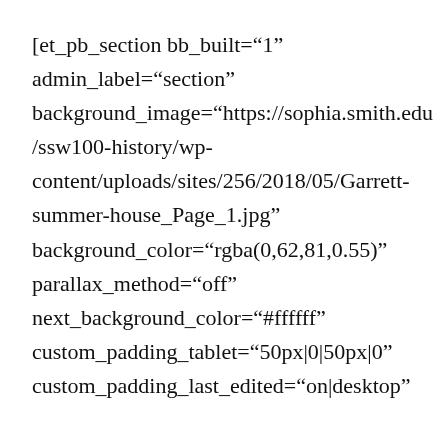[et_pb_section bb_built="1" admin_label="section" background_image="https://sophia.smith.edu/ssw100-history/wp-content/uploads/sites/256/2018/05/Garrett-summer-house_Page_1.jpg" background_color="rgba(0,62,81,0.55)" parallax_method="off" next_background_color="#ffffff" custom_padding_tablet="50px|0|50px|0" custom_padding_last_edited="on|desktop"